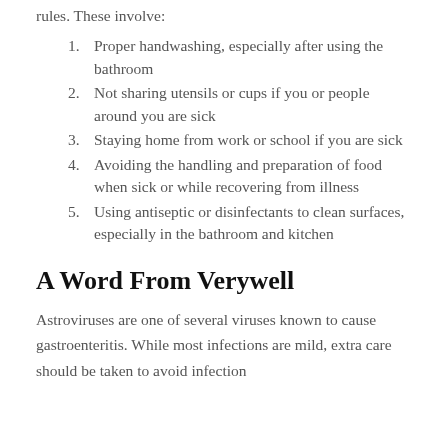rules. These involve:
Proper handwashing, especially after using the bathroom
Not sharing utensils or cups if you or people around you are sick
Staying home from work or school if you are sick
Avoiding the handling and preparation of food when sick or while recovering from illness
Using antiseptic or disinfectants to clean surfaces, especially in the bathroom and kitchen
A Word From Verywell
Astroviruses are one of several viruses known to cause gastroenteritis. While most infections are mild, extra care should be taken to avoid infection